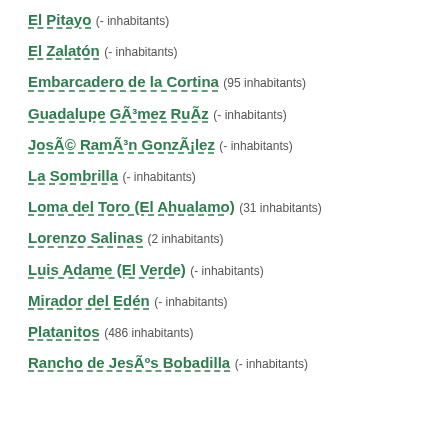El Pitayo (- inhabitants)
El Zalatón (- inhabitants)
Embarcadero de la Cortina (95 inhabitants)
Guadalupe Gómez Ruíz (- inhabitants)
José Ramón González (- inhabitants)
La Sombrilla (- inhabitants)
Loma del Toro (El Ahualamo) (31 inhabitants)
Lorenzo Salinas (2 inhabitants)
Luis Adame (El Verde) (- inhabitants)
Mirador del Edén (- inhabitants)
Platanitos (486 inhabitants)
Rancho de Jesús Bobadilla (- inhabitants)